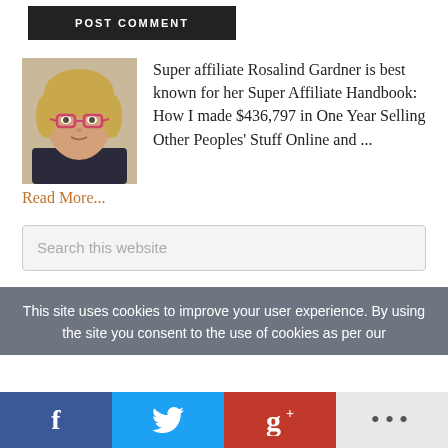[Figure (other): POST COMMENT button, dark background]
[Figure (photo): Author photo of Rosalind Gardner, woman with glasses and blonde hair]
Super affiliate Rosalind Gardner is best known for her Super Affiliate Handbook: How I made $436,797 in One Year Selling Other Peoples' Stuff Online and ... Read More...
[Figure (other): Search this website input box]
This site uses cookies to improve your user experience. By using the site you consent to the use of cookies as per our
[Figure (other): Social share bar with Facebook, Twitter, Google+, and more buttons]